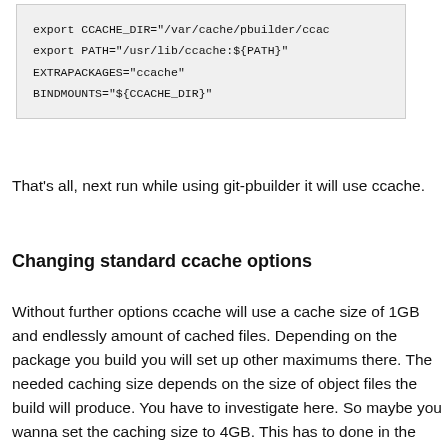export CCACHE_DIR="/var/cache/pbuilder/ccac
export PATH="/usr/lib/ccache:${PATH}"
EXTRAPACKAGES="ccache"
BINDMOUNTS="${CCACHE_DIR}"
That's all, next run while using git-pbuilder it will use ccache.
Changing standard ccache options
Without further options ccache will use a cache size of 1GB and endlessly amount of cached files. Depending on the package you build you will set up other maximums there. The needed caching size depends on the size of object files the build will produce. You have to investigate here. So maybe you wanna set the caching size to 4GB. This has to done in the chroot